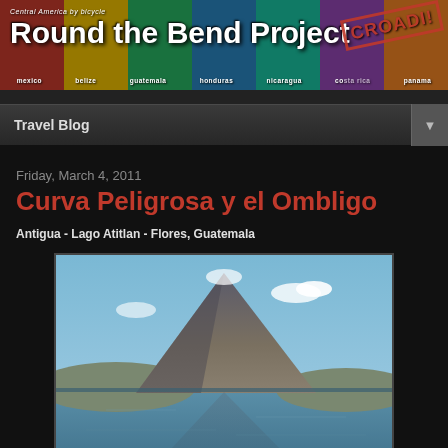[Figure (illustration): Round the Bend Project travel blog banner with colorful section backgrounds (red, yellow, green, blue, teal, purple, orange) showing countries: mexico, belize, guatemala, honduras, nicaragua, costa rica, panama. Title reads 'Round the Bend Project' with a red 'CROADI' stamp overlay.]
Travel Blog
Friday, March 4, 2011
Curva Peligrosa y el Ombligo
Antigua - Lago Atitlan - Flores, Guatemala
[Figure (photo): Photograph of a volcano rising from a lake (Lago Atitlan, Guatemala) with its reflection visible in the calm blue water, small clouds near the summit, blue sky background.]